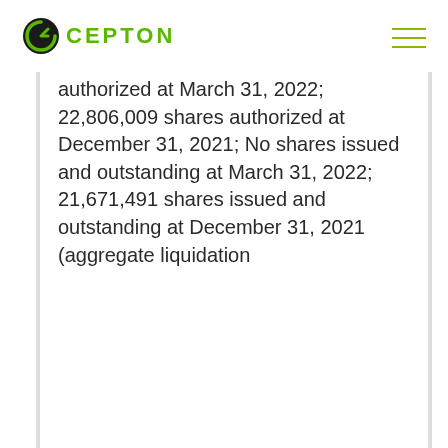CEPTON
authorized at March 31, 2022; 22,806,009 shares authorized at December 31, 2021; No shares issued and outstanding at March 31, 2022; 21,671,491 shares issued and outstanding at December 31, 2021 (aggregate liquidation